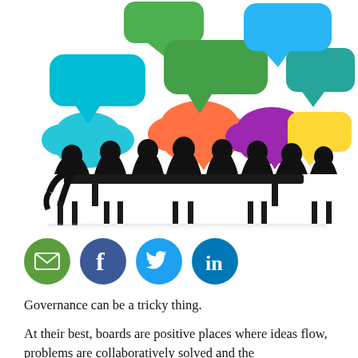[Figure (illustration): Silhouettes of people sitting around a conference table with colorful speech bubbles above them in various shapes and colors (green, blue, orange, cyan, yellow, purple, teal).]
[Figure (infographic): Row of four social media icon buttons: email (green), Facebook (blue), Twitter (light blue), LinkedIn (dark blue).]
Governance can be a tricky thing.
At their best, boards are positive places where ideas flow, problems are collaboratively solved and the